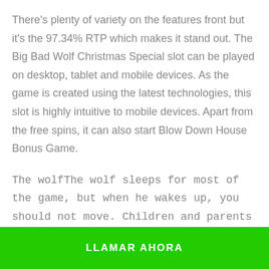There's plenty of variety on the features front but it's the 97.34% RTP which makes it stand out. The Big Bad Wolf Christmas Special slot can be played on desktop, tablet and mobile devices. As the game is created using the latest technologies, this slot is highly intuitive to mobile devices. Apart from the free spins, it can also start Blow Down House Bonus Game.
The wolfThe wolf sleeps for most of the game, but when he wakes up, you should not move. Children and parents can play this run and hide strategy game by clicking in the window below.
LLAMAR AHORA